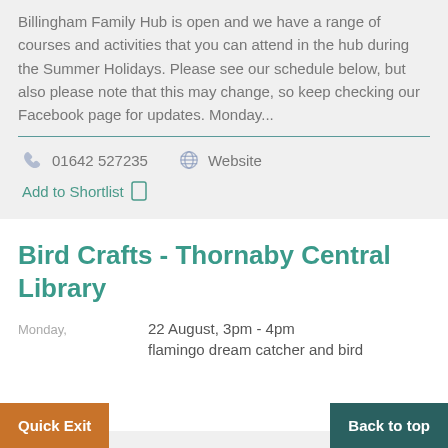Billingham Family Hub is open and we have a range of courses and activities that you can attend in the hub during the Summer Holidays. Please see our schedule below, but also please note that this may change, so keep checking our Facebook page for updates. Monday...
01642 527235
Website
Add to Shortlist
Bird Crafts - Thornaby Central Library
Monday, 22 August, 3pm - 4pm
flamingo dream catcher and bird
Quick Exit
Back to top